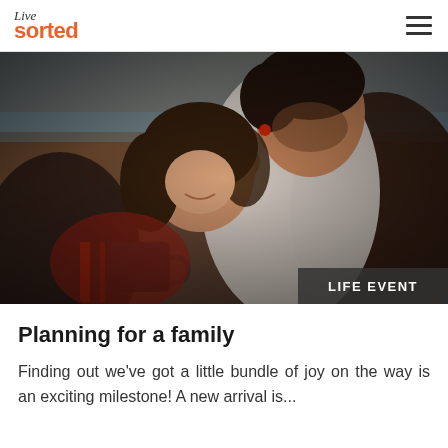Live sorted
[Figure (photo): A couple embracing outdoors near a body of water. A man kisses a woman on the forehead while she smiles up at him. The woman holds a dark mug. They appear to be in a wicker chair or similar outdoor seating. The image has a warm, romantic tone. An overlay badge in the bottom right reads 'LIFE EVENT'.]
Planning for a family
Finding out we've got a little bundle of joy on the way is an exciting milestone! A new arrival is...